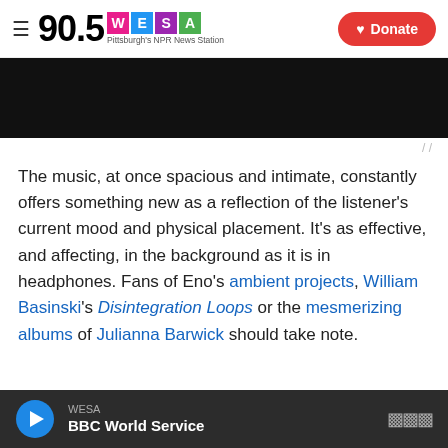90.5 WESA Pittsburgh's NPR News Station | Donate
[Figure (photo): Black rectangular image area (media thumbnail)]
The music, at once spacious and intimate, constantly offers something new as a reflection of the listener's current mood and physical placement. It's as effective, and affecting, in the background as it is in headphones. Fans of Eno's ambient projects, William Basinski's Disintegration Loops or the mesmerizing albums of Julianna Barwick should take note.
WESA | BBC World Service